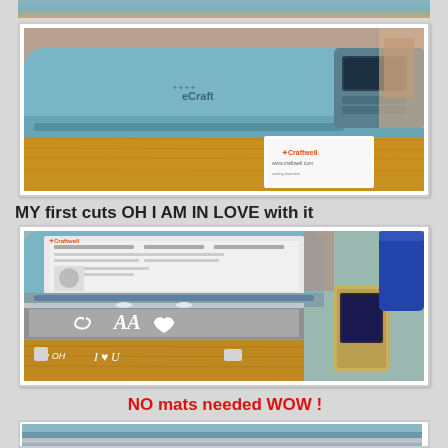[Figure (photo): Top partial photo of a teal/light blue eCraft cutting machine on a wooden board, partially cropped at top]
[Figure (photo): Photo of a teal/light blue eCraft cutting machine sitting on a bamboo/wood cutting board with a Craftwell card/brochure in front]
MY first cuts OH I AM IN LOVE with it
[Figure (photo): Photo of the eCraft cutting machine from the front showing cut vinyl letters and shapes on a mat/board below the machine, including letters 'AA' and 'I love U' style cuts]
NO mats needed WOW !
[Figure (photo): Partial photo at bottom showing another view of the eCraft machine, cropped]